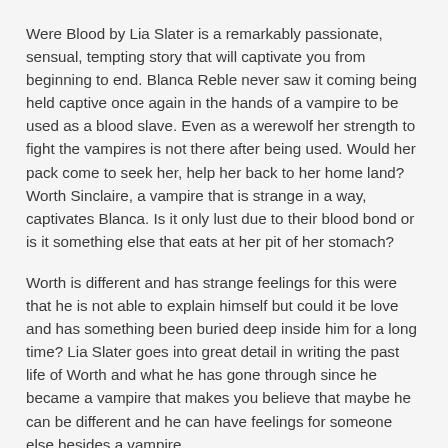Were Blood by Lia Slater is a remarkably passionate, sensual, tempting story that will captivate you from beginning to end. Blanca Reble never saw it coming being held captive once again in the hands of a vampire to be used as a blood slave. Even as a werewolf her strength to fight the vampires is not there after being used. Would her pack come to seek her, help her back to her home land? Worth Sinclaire, a vampire that is strange in a way, captivates Blanca. Is it only lust due to their blood bond or is it something else that eats at her pit of her stomach?
Worth is different and has strange feelings for this were that he is not able to explain himself but could it be love and has something been buried deep inside him for a long time? Lia Slater goes into great detail in writing the past life of Worth and what he has gone through since he became a vampire that makes you believe that maybe he can be different and he can have feelings for someone else besides a vampire.
Worth has his own issues but always puts his loved ones first before himself and now more than ever he will fight to